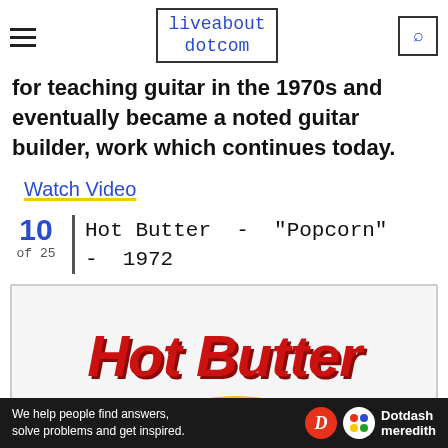liveabout dotcom
for teaching guitar in the 1970s and eventually became a noted guitar builder, work which continues today.
Watch Video
10 of 25 | Hot Butter - "Popcorn" - 1972
[Figure (photo): Hot Butter logo text in large red italic bold font on white background with yellow element at bottom]
We help people find answers, solve problems and get inspired. Dotdash meredith